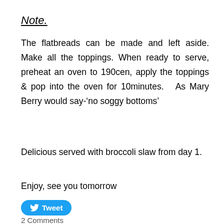Note.
The flatbreads can be made and left aside. Make all the toppings. When ready to serve, preheat an oven to 190cen, apply the toppings & pop into the oven for 10minutes.   As Mary Berry would say-‘no soggy bottoms’
Delicious served with broccoli slaw from day 1.
Enjoy, see you tomorrow
[Figure (other): Tweet button with Twitter bird icon]
2 Comments